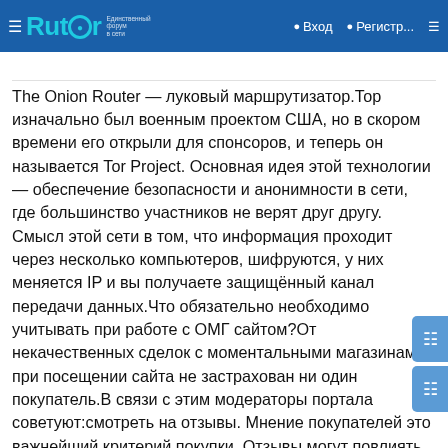Rutor — Вход — Регистр...
The Onion Router — луковый маршрутизатор.Тор изначально был военным проектом США, но в скором времени его открыли для спонсоров, и теперь он называется Tor Project. Основная идея этой технологии — обеспечение безопасности и анонимности в сети, где большинство участников не верят друг другу. Смысл этой сети в том, что информация проходит через несколько компьютеров, шифруются, у них меняется IP и вы получаете защищённый канал передачи данных.Что обязательно необходимо учитывать при работе с ОМГ сайтом?От некачественных сделок с моментальными магазинами при посещении сайта не застрахован ни один покупатель.В связи с этим модераторы портала советуют:смотреть на отзывы. Мнение покупателей это важнейший критерий покупки. Отзывы могут повлиять на окончательное решение о покупке товара или клада. Благодаря оставленным комментариям можно узнать о качестве товара, способах доставки и других деталях сотрудничества с продавцом;подтверждать покупку только после того, как будет подтверждено ее качество.